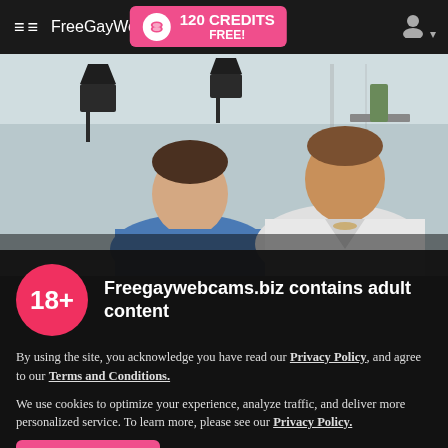≡≡ FreeGayWebcams | 120 CREDITS FREE!
[Figure (photo): Two young men posing together in a room with modern wall lamps, one wearing a blue shirt and the other a white shirt]
Freegaywebcams.biz contains adult content
By using the site, you acknowledge you have read our Privacy Policy, and agree to our Terms and Conditions.
We use cookies to optimize your experience, analyze traffic, and deliver more personalized service. To learn more, please see our Privacy Policy.
I AGREE